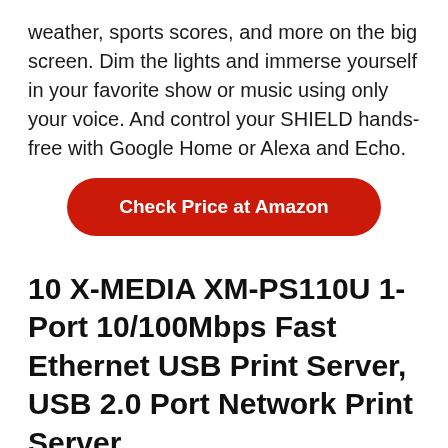weather, sports scores, and more on the big screen. Dim the lights and immerse yourself in your favorite show or music using only your voice. And control your SHIELD hands-free with Google Home or Alexa and Echo.
[Figure (other): Red rounded-rectangle button with white bold text 'Check Price at Amazon']
10 X-MEDIA XM-PS110U 1-Port 10/100Mbps Fast Ethernet USB Print Server, USB 2.0 Port Network Print Server